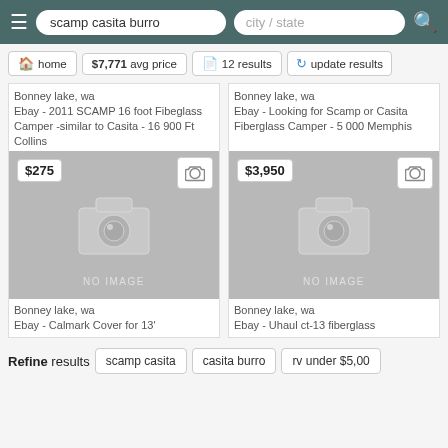scamp casita burro | city / state
home | $7,771 avg price | 12 results | update results
Bonney lake, wa
Ebay - 2011 SCAMP 16 foot Fibeglass Camper -similar to Casita - 16 900 Ft Collins
Bonney lake, wa
Ebay - Looking for Scamp or Casita Fiberglass Camper - 5 000 Memphis
[Figure (screenshot): No image placeholder with camera icon, price badge $275 and heart button]
[Figure (screenshot): No image placeholder with camera icon, price badge $3,950 and heart button]
Bonney lake, wa
Ebay - Calmark Cover for 13'
Bonney lake, wa
Ebay - Uhaul ct-13 fiberglass
Refine results | scamp casita | casita burro | rv under $5,000